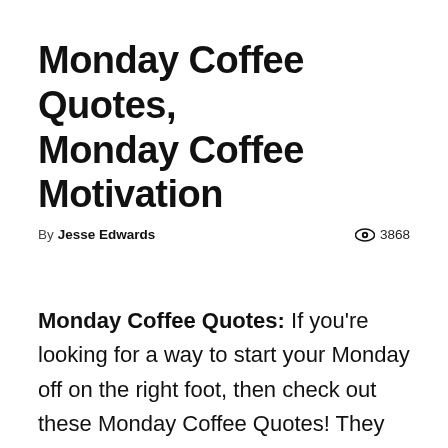Monday Coffee Quotes, Monday Coffee Motivation
By Jesse Edwards  👁 3868
Monday Coffee Quotes: If you're looking for a way to start your Monday off on the right foot, then check out these Monday Coffee Quotes! They will give you that extra boost of motivation and positivity. Maybe they'll